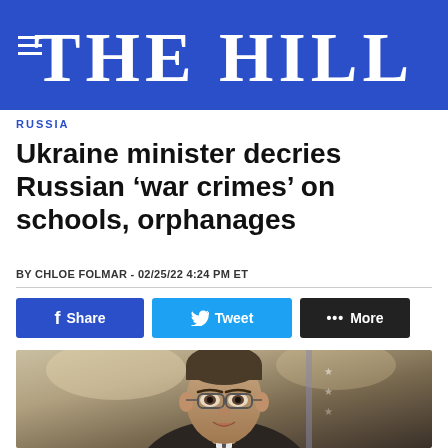THE HILL
RUSSIA
Ukraine minister decries Russian 'war crimes' on schools, orphanages
BY CHLOE FOLMAR - 02/25/22 4:24 PM ET
[Figure (photo): Portrait photo of a man in a suit and glasses speaking, with an American flag visible in the background]
Share
Tweet
More